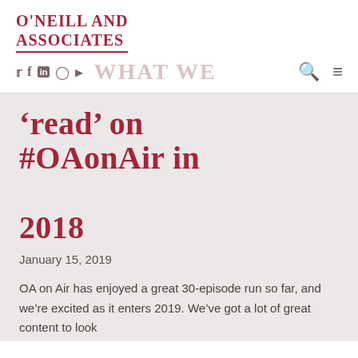O'Neill and Associates
'Read' on #OAonAir in 2018
January 15, 2019
OA on Air has enjoyed a great 30-episode run so far, and we're excited as it enters 2019. We've got a lot of great content to look